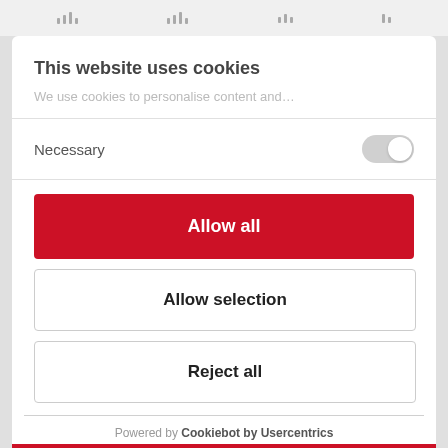This website uses cookies
We use cookies to personalise content and…
Necessary
Allow all
Allow selection
Reject all
Powered by Cookiebot by Usercentrics